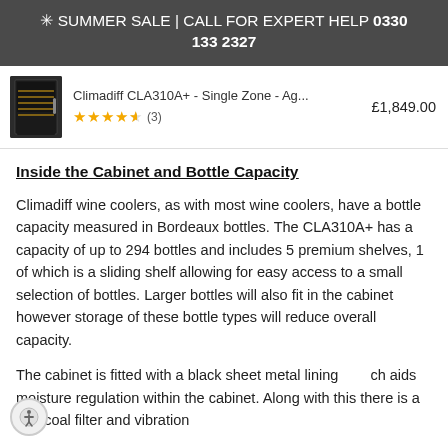✳ SUMMER SALE | CALL FOR EXPERT HELP 0330 133 2327
[Figure (photo): Small thumbnail image of a black wine cooler cabinet (Climadiff CLA310A+)]
Climadiff CLA310A+ - Single Zone - Ag... £1,849.00
★★★★½ (3)
Inside the Cabinet and Bottle Capacity
Climadiff wine coolers, as with most wine coolers, have a bottle capacity measured in Bordeaux bottles. The CLA310A+ has a capacity of up to 294 bottles and includes 5 premium shelves, 1 of which is a sliding shelf allowing for easy access to a small selection of bottles. Larger bottles will also fit in the cabinet however storage of these bottle types will reduce overall capacity.
The cabinet is fitted with a black sheet metal lining which aids moisture regulation within the cabinet. Along with this there is a charcoal filter and vibration